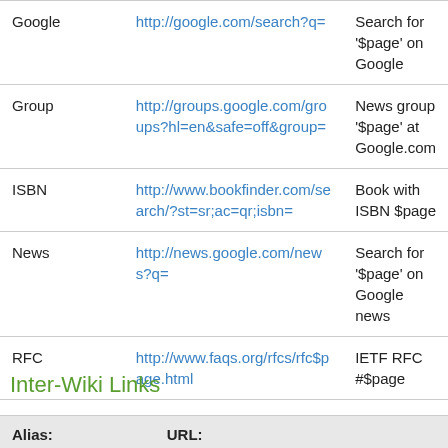|  | URL: |  |
| --- | --- | --- |
| Google | http://google.com/search?q= | Search for '$page' on Google |
| Group | http://groups.google.com/groups?hl=en&safe=off&group= | News group '$page' at Google.com |
| ISBN | http://www.bookfinder.com/search/?st=sr;ac=qr;isbn= | Book with ISBN $page |
| News | http://news.google.com/news?q= | Search for '$page' on Google news |
| RFC | http://www.faqs.org/rfcs/rfc$page.html | IETF RFC #$page |
Inter-Wiki Links
| Alias: | URL: |
| --- | --- |